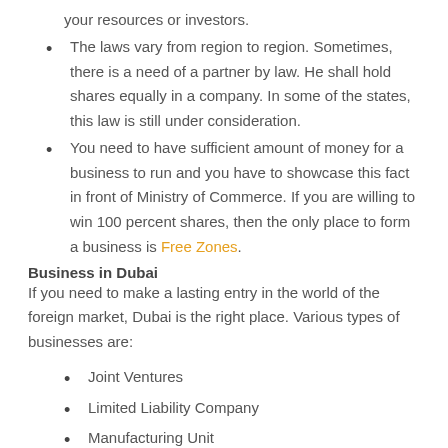your resources or investors.
The laws vary from region to region. Sometimes, there is a need of a partner by law. He shall hold shares equally in a company. In some of the states, this law is still under consideration.
You need to have sufficient amount of money for a business to run and you have to showcase this fact in front of Ministry of Commerce. If you are willing to win 100 percent shares, then the only place to form a business is Free Zones.
Business in Dubai
If you need to make a lasting entry in the world of the foreign market, Dubai is the right place. Various types of businesses are:
Joint Ventures
Limited Liability Company
Manufacturing Unit
Offshore Company